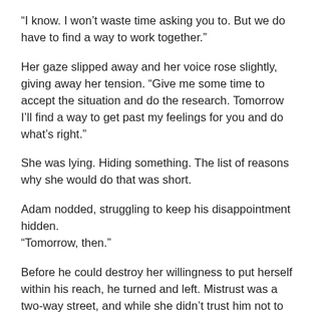“I know. I won’t waste time asking you to. But we do have to find a way to work together.”
Her gaze slipped away and her voice rose slightly, giving away her tension. “Give me some time to accept the situation and do the research. Tomorrow I’ll find a way to get past my feelings for you and do what’s right.”
She was lying. Hiding something. The list of reasons why she would do that was short.
Adam nodded, struggling to keep his disappointment hidden. “Tomorrow, then.”
Before he could destroy her willingness to put herself within his reach, he turned and left. Mistrust was a two-way street, and while she didn’t trust him not to betray her, he didn’t trust her not to do something foolish and go out on this assignment alone, just to prove she could. Adam had promised Bella he’d keep Mira safe. If that meant checking on her every hour to make sure she didn’t do anything foolish, then so be it. It wouldn’t be the first sleepless night she’d caused him. And likely not the last, either.